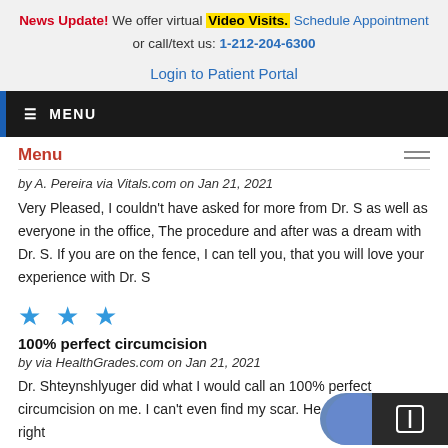News Update! We offer virtual Video Visits. Schedule Appointment or call/text us: 1-212-204-6300
Login to Patient Portal
≡ MENU
Menu
by A. Pereira via Vitals.com on Jan 21, 2021
Very Pleased, I couldn't have asked for more from Dr. S as well as everyone in the office, The procedure and after was a dream with Dr. S. If you are on the fence, I can tell you, that you will love your experience with Dr. S
[Figure (other): Three blue star rating icons]
100% perfect circumcision
by via HealthGrades.com on Jan 21, 2021
Dr. Shteynshlyuger did what I would call an 100% perfect circumcision on me. I can't even find my scar. He cut the precise right